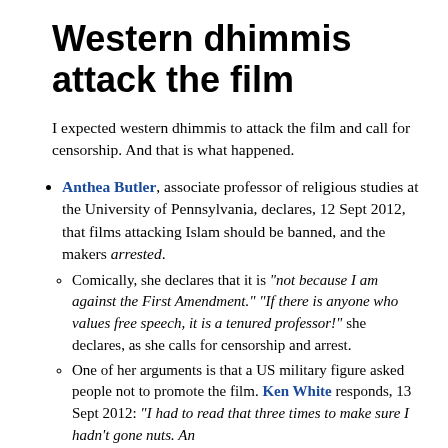Western dhimmis attack the film
I expected western dhimmis to attack the film and call for censorship. And that is what happened.
Anthea Butler, associate professor of religious studies at the University of Pennsylvania, declares, 12 Sept 2012, that films attacking Islam should be banned, and the makers arrested.
Comically, she declares that it is "not because I am against the First Amendment." "If there is anyone who values free speech, it is a tenured professor!" she declares, as she calls for censorship and arrest.
One of her arguments is that a US military figure asked people not to promote the film. Ken White responds, 13 Sept 2012: "I had to read that three times to make sure I hadn't gone nuts. An